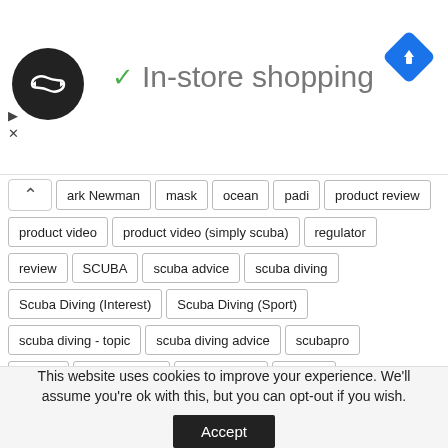[Figure (logo): Black circular logo with double arrow/loop symbol]
✓ In-store shopping
[Figure (logo): Blue diamond navigation/maps icon]
ark Newman
mask
ocean
padi
product review
product video
product video (simply scuba)
regulator
review
SCUBA
scuba advice
scuba diving
Scuba Diving (Interest)
Scuba Diving (Sport)
scuba diving - topic
scuba diving advice
scubapro
Simply
simply scuba
simplyscuba
snorkel
snorkeling
suunto
Swimming
tech
The Simply Group (TSG)
travel
unbox
unboxing
underwater
Water
wetsuit
This website uses cookies to improve your experience. We'll assume you're ok with this, but you can opt-out if you wish.
Accept